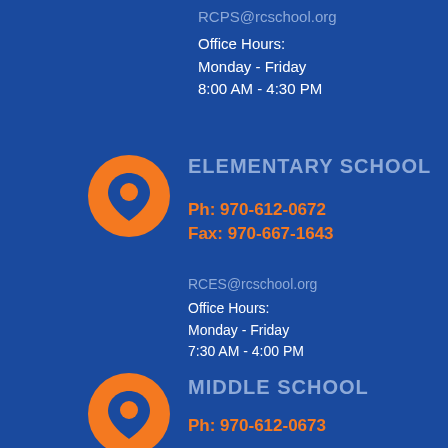RCPS@rcschool.org
Office Hours:
Monday - Friday
8:00 AM - 4:30 PM
ELEMENTARY SCHOOL
Ph: 970-612-0672
Fax: 970-667-1643
RCES@rcschool.org
Office Hours:
Monday - Friday
7:30 AM - 4:00 PM
MIDDLE SCHOOL
Ph: 970-612-0673